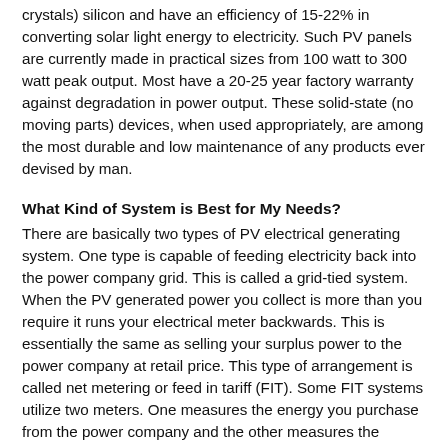crystals) silicon and have an efficiency of 15-22% in converting solar light energy to electricity. Such PV panels are currently made in practical sizes from 100 watt to 300 watt peak output. Most have a 20-25 year factory warranty against degradation in power output. These solid-state (no moving parts) devices, when used appropriately, are among the most durable and low maintenance of any products ever devised by man.
What Kind of System is Best for My Needs?
There are basically two types of PV electrical generating system. One type is capable of feeding electricity back into the power company grid. This is called a grid-tied system. When the PV generated power you collect is more than you require it runs your electrical meter backwards. This is essentially the same as selling your surplus power to the power company at retail price. This type of arrangement is called net metering or feed in tariff (FIT). Some FIT systems utilize two meters. One measures the energy you purchase from the power company and the other measures the energy that you sell to them. A downside to the two meter system is that in many cases you must pay income taxes on the power you sell as well as other federal and state taxes on the power you purchase. This, of course, increases your payback time. There is, however, another approach that does not tax your energy production or use. Sound good?